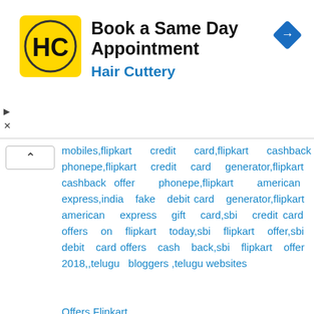[Figure (advertisement): Hair Cuttery advertisement banner with yellow HC logo, title 'Book a Same Day Appointment', subtitle 'Hair Cuttery', and blue navigation diamond icon]
mobiles,flipkart credit card,flipkart cashback phonepe,flipkart credit card generator,flipkart cashback offer phonepe,flipkart american express,india fake debit card generator,flipkart american express gift card,sbi credit card offers on flipkart today,sbi flipkart offer,sbi debit card offers cash back,sbi flipkart offer 2018,,telugu bloggers ,telugu websites
Offers.Flipkart .
flipkart bank offers,flipkart cash back coupons, flipkart offers,flipkart cashback offers ,flipkart cashback offers,flipkart cash back offers,flipkart cashback coupons,flipkart cashback,Flipkart Cashback Offers,Flipkart Bank Offers, flipkart upcoming offers on mobiles, flipkart hdfc offer, flipkart icici offer,sbi credit card offers on flipkart today,sbi flipkart offer, hdfc credit card offers on flipkart, flipkart upcoming offers on mobiles, flipkart offer,